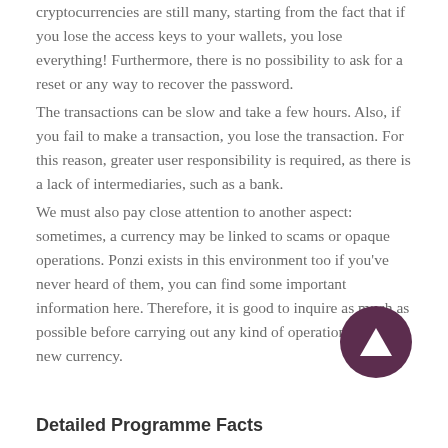cryptocurrencies are still many, starting from the fact that if you lose the access keys to your wallets, you lose everything! Furthermore, there is no possibility to ask for a reset or any way to recover the password.
The transactions can be slow and take a few hours. Also, if you fail to make a transaction, you lose the transaction. For this reason, greater user responsibility is required, as there is a lack of intermediaries, such as a bank.
We must also pay close attention to another aspect: sometimes, a currency may be linked to scams or opaque operations. Ponzi exists in this environment too if you've never heard of them, you can find some important information here. Therefore, it is good to inquire as much as possible before carrying out any kind of operation with a new currency.
[Figure (other): Dark circular navigation/scroll-to-top button with a triangle/arrow icon pointing upward]
Detailed Programme Facts